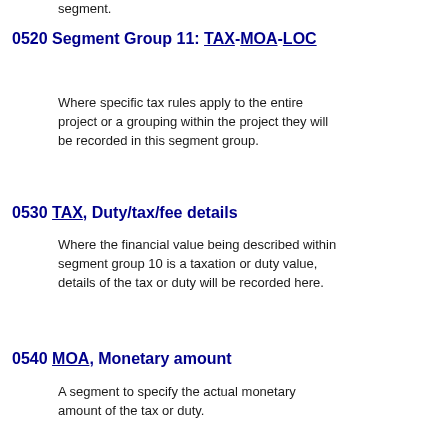segment.
0520 Segment Group 11: TAX-MOA-LOC
Where specific tax rules apply to the entire project or a grouping within the project they will be recorded in this segment group.
0530 TAX, Duty/tax/fee details
Where the financial value being described within segment group 10 is a taxation or duty value, details of the tax or duty will be recorded here.
0540 MOA, Monetary amount
A segment to specify the actual monetary amount of the tax or duty.